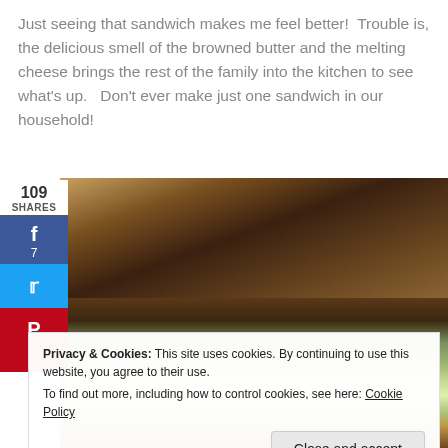Just seeing that sandwich makes me feel better!  Trouble is, the delicious smell of the browned butter and the melting cheese brings the rest of the family into the kitchen to see what's up.   Don't ever make just one sandwich in our household!
[Figure (photo): Close-up photo of a grilled cheese sandwich, showing golden-brown toasted bread, with a bottom section showing lettuce and cheese filling. Social share buttons (Facebook, Twitter, Pinterest) on the left side showing 109 shares, 7 Facebook shares.]
Privacy & Cookies: This site uses cookies. By continuing to use this website, you agree to their use.
To find out more, including how to control cookies, see here: Cookie Policy
Close and accept